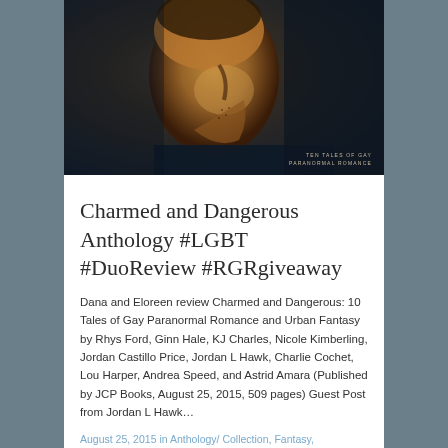[Figure (photo): Book cover of 'Charmed and Dangerous' anthology showing a close-up side profile of a man's face with short hair against a dark background, with small text reading 'Ten Tales of Gay Paranormal Romance' at the bottom right.]
Charmed and Dangerous Anthology #LGBT #DuoReview #RGRgiveaway
Dana and Eloreen review Charmed and Dangerous: 10 Tales of Gay Paranormal Romance and Urban Fantasy by Rhys Ford, Ginn Hale, KJ Charles, Nicole Kimberling, Jordan Castillo Price, Jordan L Hawk, Charlie Cochet, Lou Harper, Andrea Speed, and Astrid Amara (Published by JCP Books, August 25, 2015, 509 pages) Guest Post from Jordan L Hawk…
August 25, 2015 in Anthology/ Collection, Fantasy, Giveaway, Guest Post, Historical, Indie/Self-published